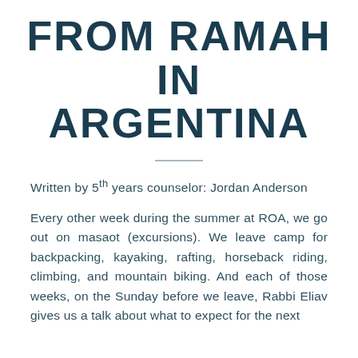FROM RAMAH IN ARGENTINA
Written by 5th years counselor: Jordan Anderson
Every other week during the summer at ROA, we go out on masaot (excursions). We leave camp for backpacking, kayaking, rafting, horseback riding, climbing, and mountain biking. And each of those weeks, on the Sunday before we leave, Rabbi Eliav gives us a talk about what to expect for the next